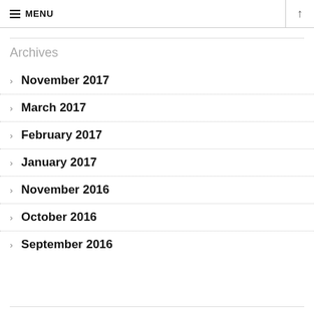≡ MENU ↑
Archives
November 2017
March 2017
February 2017
January 2017
November 2016
October 2016
September 2016